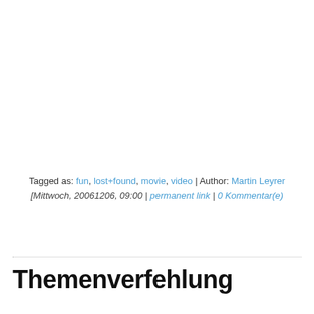Tagged as: fun, lost+found, movie, video | Author: Martin Leyrer [Mittwoch, 20061206, 09:00 | permanent link | 0 Kommentar(e)
Themenverfehlung
...